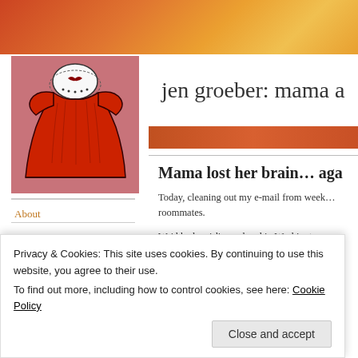jen groeber: mama a
[Figure (illustration): Illustration of a red children's smocked dress with white collar and puffed sleeves on a pink/mauve background]
About
Mama lost her brain… aga
Today, cleaning out my e-mail from week… roommates.
We'd had a girl's weekend in Washington… and a crazy spin class during which I alm… imploring me to be a hero, not a zero.
Privacy & Cookies: This site uses cookies. By continuing to use this website, you agree to their use.
To find out more, including how to control cookies, see here: Cookie Policy
Close and accept